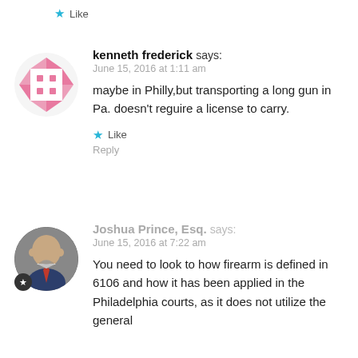Like
kenneth frederick says:
June 15, 2016 at 1:11 am
maybe in Philly,but transporting a long gun in Pa. doesn't reguire a license to carry.
Like
Reply
Joshua Prince, Esq. says:
June 15, 2016 at 7:22 am
You need to look to how firearm is defined in 6106 and how it has been applied in the Philadelphia courts, as it does not utilize the general